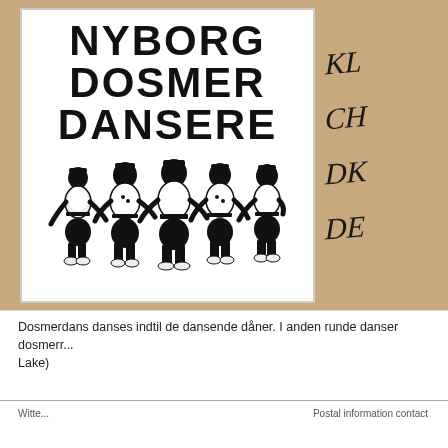[Figure (illustration): A printed poster on white card showing the text 'NYBORG DOSMER DANSERE' in bold black block letters at the top, with a black and white woodcut-style illustration of five chubby folk dancers in traditional costume dancing in a circle, holding hands. The poster is placed on a tan/kraft paper background.]
[Figure (illustration): Partial handwritten calligraphy text visible on the right side of the kraft paper background, showing partial letters: 'KLA', 'CHR', 'DK', 'DE' in black ink cursive script.]
Dosmerdans danses indtil de dansende dåner. I anden runde danser dosmerr... Lake)
Witte... Lake)